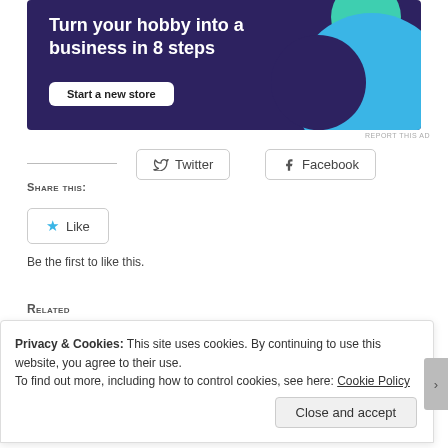[Figure (illustration): Advertisement banner with dark purple background, teal decorative circles, bold white text 'Turn your hobby into a business in 8 steps', and a white 'Start a new store' button.]
REPORT THIS AD
Share this:
[Figure (illustration): Twitter share button with bird icon]
[Figure (illustration): Facebook share button with f icon]
[Figure (illustration): Like button with star icon]
Be the first to like this.
Related
Privacy & Cookies: This site uses cookies. By continuing to use this website, you agree to their use.
To find out more, including how to control cookies, see here: Cookie Policy
Close and accept